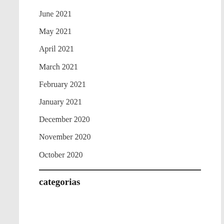June 2021
May 2021
April 2021
March 2021
February 2021
January 2021
December 2020
November 2020
October 2020
categorias